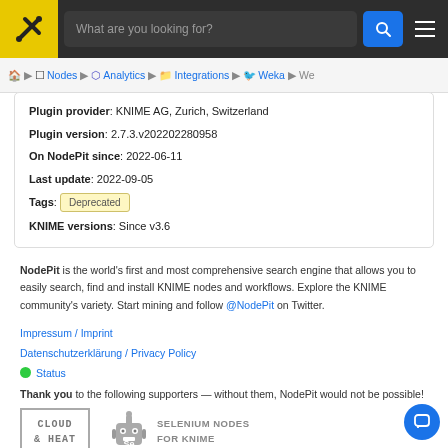NodePit — What are you looking for?
Home > Nodes > Analytics > Integrations > Weka > We
Plugin provider: KNIME AG, Zurich, Switzerland
Plugin version: 2.7.3.v202202280958
On NodePit since: 2022-06-11
Last update: 2022-09-05
Tags: Deprecated
KNIME versions: Since v3.6
NodePit is the world's first and most comprehensive search engine that allows you to easily search, find and install KNIME nodes and workflows. Explore the KNIME community's variety. Start mining and follow @NodePit on Twitter.
Impressum / Imprint
Datenschutzerklärung / Privacy Policy
Status
Thank you to the following supporters — without them, NodePit would not be possible!
[Figure (logo): Cloud & Heat logo]
[Figure (logo): Selenium Nodes for KNIME logo]